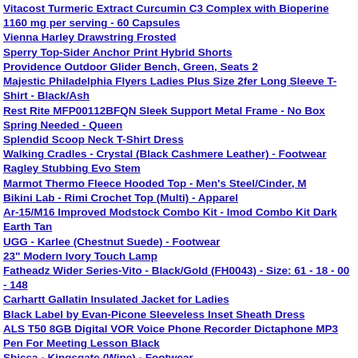Vitacost Turmeric Extract Curcumin C3 Complex with Bioperine 1160 mg per serving - 60 Capsules
Vienna Harley Drawstring Frosted
Sperry Top-Sider Anchor Print Hybrid Shorts
Providence Outdoor Glider Bench, Green, Seats 2
Majestic Philadelphia Flyers Ladies Plus Size 2fer Long Sleeve T-Shirt - Black/Ash
Rest Rite MFP00112BFQN Sleek Support Metal Frame - No Box Spring Needed - Queen
Splendid Scoop Neck T-Shirt Dress
Walking Cradles - Crystal (Black Cashmere Leather) - Footwear
Ragley Stubbing Evo Stem
Marmot Thermo Fleece Hooded Top - Men's Steel/Cinder, M
Bikini Lab - Rimi Crochet Top (Multi) - Apparel
Ar-15/M16 Improved Modstock Combo Kit - Imod Combo Kit Dark Earth Tan
UGG - Karlee (Chestnut Suede) - Footwear
23" Modern Ivory Touch Lamp
Fatheadz Wider Series-Vito - Black/Gold (FH0043) - Size: 61 - 18 - 00 - 148
Carhartt Gallatin Insulated Jacket for Ladies
Black Label by Evan-Picone Sleeveless Inset Sheath Dress
ALS T50 8GB Digital VOR Voice Phone Recorder Dictaphone MP3 Pen For Meeting Lesson Black
Sbicca - Kingsgate (Wine) - Footwear